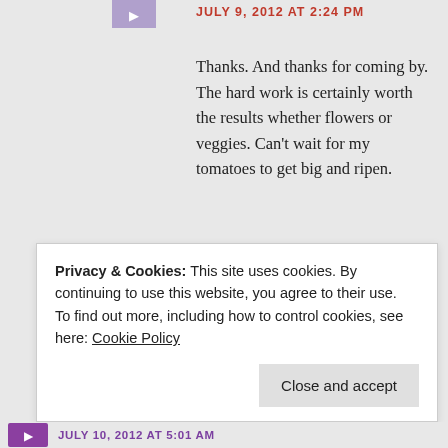JULY 9, 2012 AT 2:24 PM
Thanks. And thanks for coming by. The hard work is certainly worth the results whether flowers or veggies. Can't wait for my tomatoes to get big and ripen.
Yael
Like
Privacy & Cookies: This site uses cookies. By continuing to use this website, you agree to their use.
To find out more, including how to control cookies, see here: Cookie Policy
Close and accept
JULY 10, 2012 AT 5:01 AM